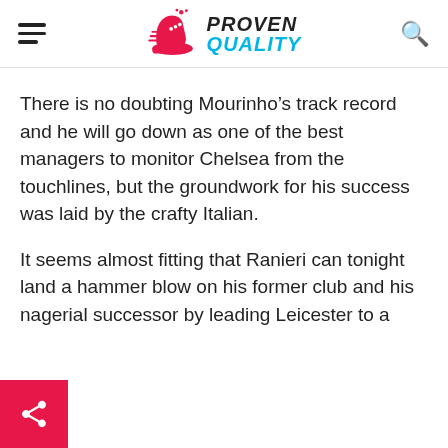PROVEN QUALITY
There is no doubting Mourinho’s track record and he will go down as one of the best managers to monitor Chelsea from the touchlines, but the groundwork for his success was laid by the crafty Italian.
It seems almost fitting that Ranieri can tonight land a hammer blow on his former club and his managerial successor by leading Leicester to a